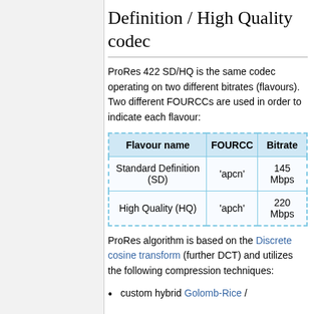Definition / High Quality codec
ProRes 422 SD/HQ is the same codec operating on two different bitrates (flavours). Two different FOURCCs are used in order to indicate each flavour:
| Flavour name | FOURCC | Bitrate |
| --- | --- | --- |
| Standard Definition (SD) | 'apcn' | 145 Mbps |
| High Quality (HQ) | 'apch' | 220 Mbps |
ProRes algorithm is based on the Discrete cosine transform (further DCT) and utilizes the following compression techniques:
custom hybrid Golomb-Rice /